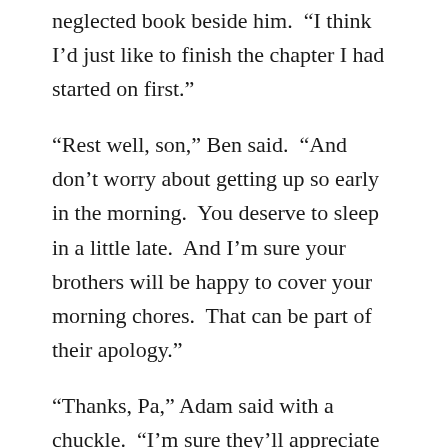neglected book beside him.  “I think I’d just like to finish the chapter I had started on first.”
“Rest well, son,” Ben said.  “And don’t worry about getting up so early in the morning.  You deserve to sleep in a little late.  And I’m sure your brothers will be happy to cover your morning chores.  That can be part of their apology.”
“Thanks, Pa,” Adam said with a chuckle.  “I’m sure they’ll appreciate that,” he added with a touch of irony. “And you rest well too,” he finished softly as he turned to the book and began to thumb through the pages.
Ben stood for a moment, watching his son resume reading.  Then, with a whispered “thank you, son” he